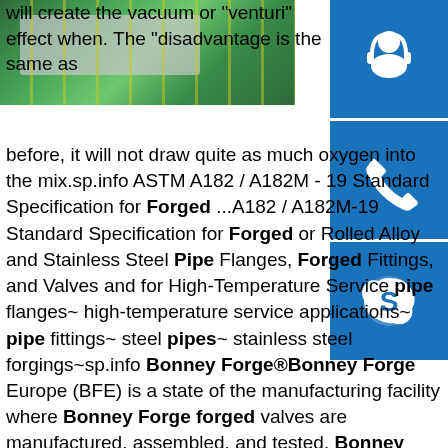[Figure (photo): Photo of coiled metal/steel strip with green and yellow background, industrial setting]
will create the vacuum or "venturi" effect when. The "disadvantage is the same as before, it will not draw quite as much oxygen into the mix.sp.info ASTM A182 / A182M - 19 Standard Specification for Forged ...A182 / A182M-19 Standard Specification for Forged or Rolled Alloy and Stainless Steel Pipe Flanges, Forged Fittings, and Valves and for High-Temperature Service pipe flanges~ high-temperature service applications~ pipe fittings~ steel pipes~ stainless steel forgings~sp.info Bonney Forge®Bonney Forge Europe (BFE) is a state of the manufacturing facility where Bonney Forge forged valves are manufactured, assembled, and tested. Bonney Forge: Four Decades Ahead of New ASTM Corrosion-Protective Requirements.sp.info Parts, Forged Anvils, RIDGID StoreView replacement parts and parts breakdowns for your RIDGID Forged Anvils. Shop with confidence when you buy repair parts directly from RIDGID. HOW WE USE